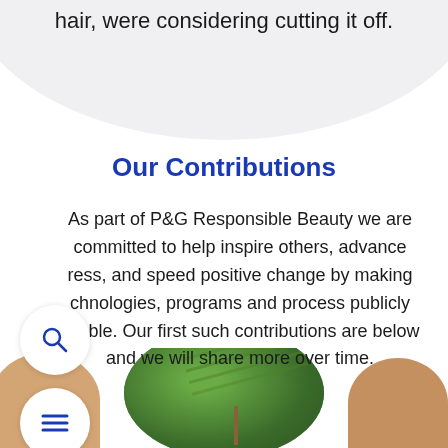hair, were considering cutting it off.
Our Contributions
As part of P&G Responsible Beauty we are committed to help inspire others, advance ress, and speed positive change by making chnologies, programs and process publicly ailable. Our first such contributions are below and we will share more over time.
[Figure (photo): Bottom portion of page showing oval leaf plant image in center, person on left side, and person on right side, partially cropped at bottom edge]